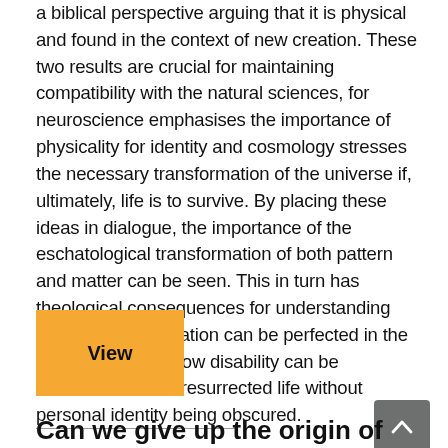a biblical perspective arguing that it is physical and found in the context of new creation. These two results are crucial for maintaining compatibility with the natural sciences, for neuroscience emphasises the importance of physicality for identity and cosmology stresses the necessary transformation of the universe if, ultimately, life is to survive. By placing these ideas in dialogue, the importance of the eschatological transformation of both pattern and matter can be seen. This in turn has theological consequences for understanding both how sanctification can be perfected in the resurrection and how disability can be understood in the resurrected life without personal identity being obscured.
[Figure (other): Orange 'View' button]
[Figure (other): Dark gray scroll-to-top arrow button]
Can we give up the origin of humanity